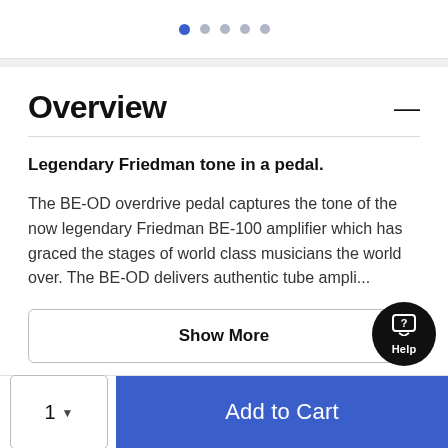[Figure (other): Carousel pagination dots, first dot active (blue), four inactive (gray)]
Overview
Legendary Friedman tone in a pedal. The BE-OD overdrive pedal captures the tone of the now legendary Friedman BE-100 amplifier which has graced the stages of world class musicians the world over. The BE-OD delivers authentic tube ampli...
Show More
1  Add to Cart